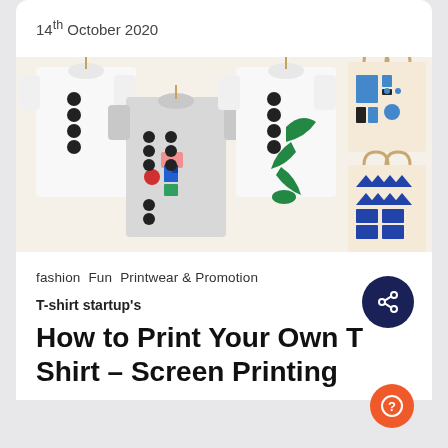14th October 2020
[Figure (photo): Multiple printed t-shirts and tote bags hanging on a wall, showing various screen-printed graphic designs in black, colorful geometric and abstract patterns including green plant shapes and blue geometric prints on tote bags.]
fashion   Fun   Printwear & Promotion
T-shirt startup's
How to Print Your Own T Shirt – Screen Printing